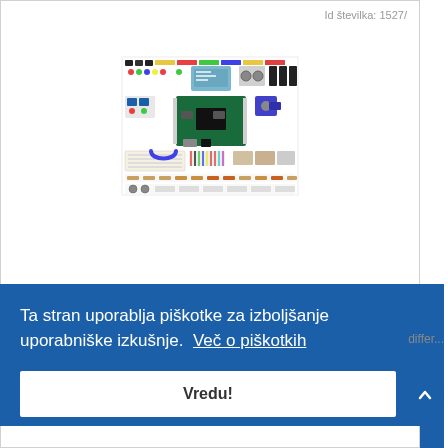Id številka: 1527/
[Figure (photo): Photo of an Arduino electronics starter kit showing various components including boards, sensors, LEDs, resistors, cables, breadboards, and other electronic parts laid out on a white background]
Ta stran uporablja piškotke za izboljšanje uporabniške izkušnje.  Več o piškotkih
Vredu!
differ...